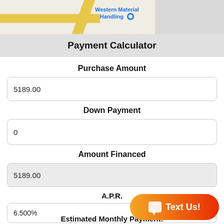[Figure (screenshot): Partial Google Maps view showing Western Material Handling location marker]
Payment Calculator
Purchase Amount
5189.00
Down Payment
0
Amount Financed
5189.00
A.P.R.
6.500%
Term
12 Months (1 Year)
Estimated Monthly Payment: